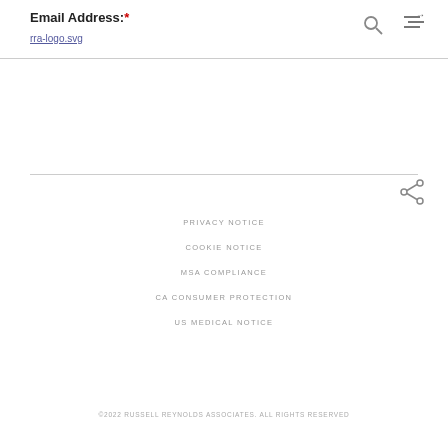Email Address:*
rra-logo.svg
[Figure (logo): RRA logo (broken image placeholder link 'rra-logo.svg')]
PRIVACY NOTICE
COOKIE NOTICE
MSA COMPLIANCE
CA CONSUMER PROTECTION
US MEDICAL NOTICE
©2022 RUSSELL REYNOLDS ASSOCIATES. ALL RIGHTS RESERVED